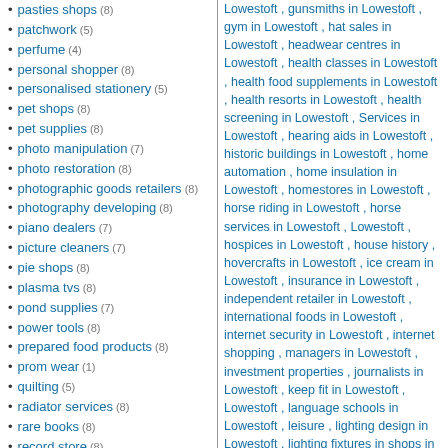pasties shops (8)
patchwork (5)
perfume (4)
personal shopper (8)
personalised stationery (5)
pet shops (8)
pet supplies (8)
photo manipulation (7)
photo restoration (8)
photographic goods retailers (8)
photography developing (8)
piano dealers (7)
picture cleaners (7)
pie shops (8)
plasma tvs (8)
pond supplies (7)
power tools (8)
prepared food products (8)
prom wear (1)
quilting (5)
radiator services (8)
rare books (8)
record store (8)
regalia (2)
retail furniture sales (8)
retail wine merchants (7)
ride (1)
rugs (1)
sand suppliers (6)
satellite tv (8)
school clothes shops (7)
school uniform shops (7)
scrap metal merchants (1)
secondhand books (7)
secondhand dealers (7)
shoe repairs (8)
shoe shops (8)
shooting clothing (1)
Lowestoft , gunsmiths in Lowestoft , gym in Lowestoft , hat sales in Lowestoft , headwear centres in Lowestoft , health classes in Lowestoft , health food supplements in Lowestoft , health resorts in Lowestoft , health screening in Lowestoft , Services in Lowestoft , hearing aids in Lowestoft , historic buildings in Lowestoft , home automation , home insulation in Lowestoft , homestores in Lowestoft , horse riding in Lowestoft , horse services in Lowestoft , Lowestoft , hospices in Lowestoft , house history , hovercrafts in Lowestoft , ice cream in Lowestoft , insurance in Lowestoft , independent retailer in Lowestoft , international foods in Lowestoft , internet security in Lowestoft , internet shopping , managers in Lowestoft , investment properties , journalists in Lowestoft , keep fit in Lowestoft , Lowestoft , language schools in Lowestoft , leisure , lighting design in Lowestoft , lighting fixtures in shops in Lowestoft , lighting supplies in Lowestoft , Lowestoft , local government in Lowestoft , local publishers in Lowestoft , market equipment in Lowestoft , medals in Lowestoft , meditation in farm in Lowestoft , mobility services in Lowestoft , Lowestoft , motor sports in Lowestoft , motorcycle , motorcycle service in Lowestoft , motorcycle te clubs in Lowestoft , murder mystery in Lowestoft , Lowestoft , music shops in Lowestoft , music shopping in Lowestoft , natural health care in Lowestoft , year in Lowestoft , night clubs in Lowestoft , licences in Lowestoft , off road driving in Lowestoft , Lowestoft , organic food retail in Lowestoft , parents and Child in Lowestoft , park and ride , Lowestoft , party shops in Lowestoft , party supplies , Lowestoft , paving services in Lowestoft , performance exhausts in Lowestoft , performing arts in Lowestoft , performing arts college in Lowestoft , Lowestoft , personal development in Lowestoft , Lowestoft , personal training in Lowestoft , personal...